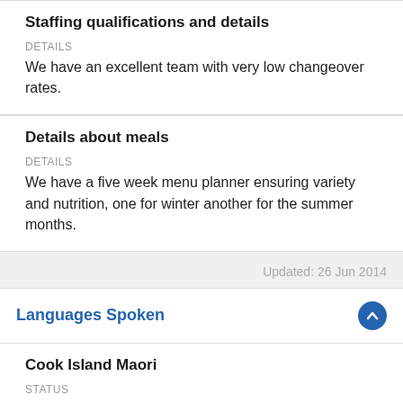Staffing qualifications and details
DETAILS
We have an excellent team with very low changeover rates.
Details about meals
DETAILS
We have a five week menu planner ensuring variety and nutrition, one for winter another for the summer months.
Updated: 26 Jun 2014
Languages Spoken
Cook Island Maori
STATUS
Yes